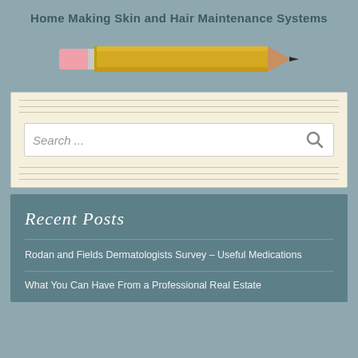Home Making Skin and Hair Maintenance Systems
[Figure (illustration): A yellow pencil with a pink eraser end on the left and a dark pencil tip on the right, oriented horizontally against a grey-blue background.]
[Figure (screenshot): A search box with light yellow notepad-style background, containing a white search input field with placeholder text 'Search ...' and a magnifying glass icon on the right.]
Recent Posts
Rodan and Fields Dermatologists Survey – Useful Medications
What You Can Have From a Professional Real Estate